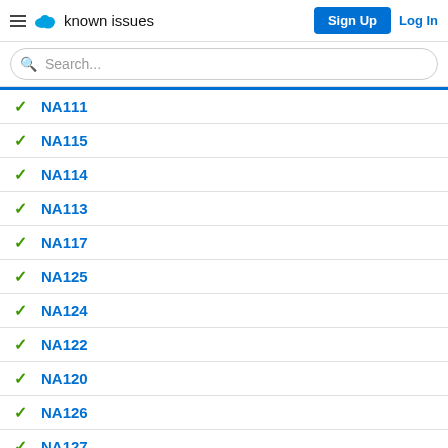known issues | Sign Up | Log In
Search...
NA111
NA115
NA114
NA113
NA117
NA125
NA124
NA122
NA120
NA126
NA127
NA123
NA129
NA121
NA128
NA138